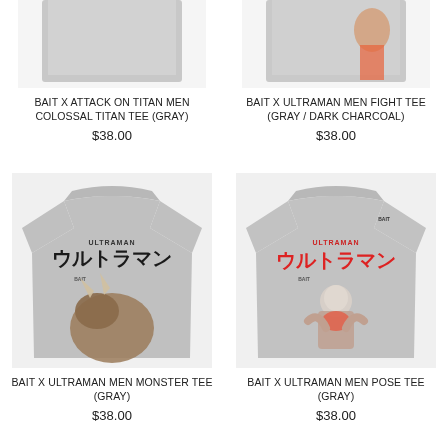[Figure (photo): Gray t-shirt bottom portion, product photo cut at top]
BAIT X ATTACK ON TITAN MEN COLOSSAL TITAN TEE (GRAY)
$38.00
[Figure (photo): Gray t-shirt with Ultraman fight scene, bottom portion shown]
BAIT X ULTRAMAN MEN FIGHT TEE (GRAY / DARK CHARCOAL)
$38.00
[Figure (photo): Gray BAIT x Ultraman Men Monster Tee showing monster graphic on back of shirt]
BAIT X ULTRAMAN MEN MONSTER TEE (GRAY)
$38.00
[Figure (photo): Gray BAIT x Ultraman Men Pose Tee showing Ultraman pose graphic on front of shirt]
BAIT X ULTRAMAN MEN POSE TEE (GRAY)
$38.00